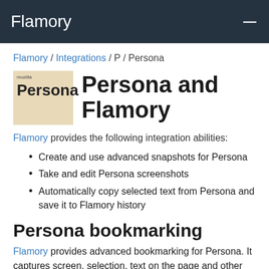Flamory
Flamory / Integrations / P / Persona
[Figure (logo): Persona logo: beige/tan background with 'mozilla Persona' text in bold]
Persona and Flamory
Flamory provides the following integration abilities:
Create and use advanced snapshots for Persona
Take and edit Persona screenshots
Automatically copy selected text from Persona and save it to Flamory history
Persona bookmarking
Flamory provides advanced bookmarking for Persona. It captures screen, selection, text on the page and other context. You can find this bookmark later using search by